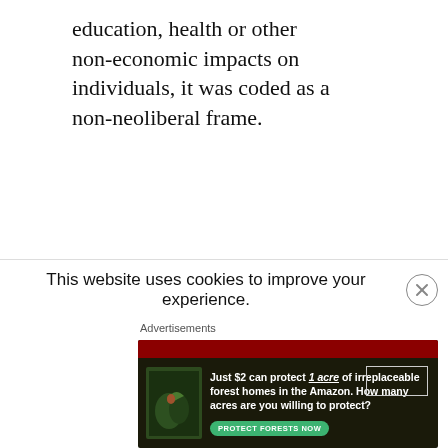education, health or other non-economic impacts on individuals, it was coded as a non-neoliberal frame.
[Figure (other): Horizontal blue rule divider line]
This website uses cookies to improve your experience.
Advertisements
[Figure (illustration): Advertisement banner for Amazon forest protection: 'Just $2 can protect 1 acre of irreplaceable forest homes in the Amazon. How many acres are you willing to protect?' with a green 'PROTECT FORESTS NOW' button, dark forest background with bird imagery.]